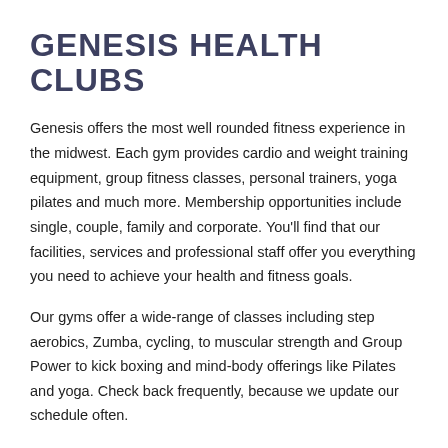GENESIS HEALTH CLUBS
Genesis offers the most well rounded fitness experience in the midwest. Each gym provides cardio and weight training equipment, group fitness classes, personal trainers, yoga pilates and much more. Membership opportunities include single, couple, family and corporate. You'll find that our facilities, services and professional staff offer you everything you need to achieve your health and fitness goals.
Our gyms offer a wide-range of classes including step aerobics, Zumba, cycling, to muscular strength and Group Power to kick boxing and mind-body offerings like Pilates and yoga. Check back frequently, because we update our schedule often.
Take charge of your health. Team up with Genesis Health Clubs. We will listen to your needs. Give you that extra motivation. Work with you every step of the way. Our certified, highly trained staff is here for you. We will develop a lifestyle that will change your life forever.